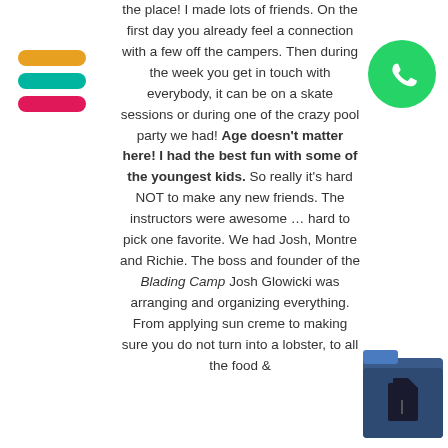[Figure (illustration): Three horizontal pill/bar shapes stacked vertically: top is orange/yellow, middle is teal/green, bottom is pink/magenta — a hamburger menu icon]
[Figure (logo): WhatsApp logo — green circle with white phone handset icon]
the place! I made lots of friends. On the first day you already feel a connection with a few off the campers. Then during the week you get in touch with everybody, it can be on a skate sessions or during one of the crazy pool party we had! Age doesn't matter here! I had the best fun with some of the youngest kids. So really it's hard NOT to make any new friends. The instructors were awesome … hard to pick one favorite. We had Josh, Montre and Richie. The boss and founder of the Blading Camp Josh Glowicki was arranging and organizing everything. From applying sun creme to making sure you do not turn into a lobster, to all the food &
[Figure (illustration): A dark folder icon with a small document/page icon inside it, positioned in the bottom-right corner]